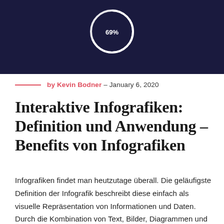[Figure (donut-chart): Partial donut/circle chart on dark navy background showing 69% value, white circle outline with '69%' text label, top portion of image cropped]
by Kevin Bodner – January 6, 2020
Interaktive Infografiken: Definition und Anwendung – Benefits von Infografiken
Infografiken findet man heutzutage überall. Die geläufigste Definition der Infografik beschreibt diese einfach als visuelle Repräsentation von Informationen und Daten. Durch die Kombination von Text, Bilder, Diagrammen und auch Videos, ermöglichen Infografiken ein effektive Darstellung von Daten. Wann ist eine Infografik gut und welche Anwendungsbereiche gibt es?